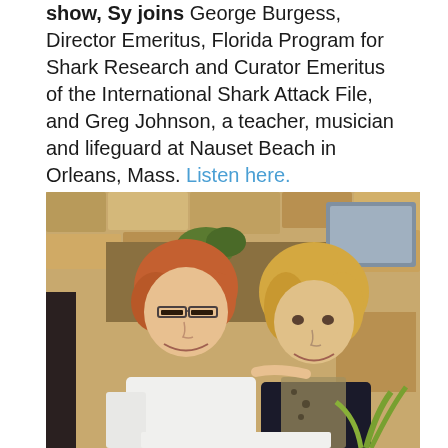show, Sy joins George Burgess, Director Emeritus, Florida Program for Shark Research and Curator Emeritus of the International Shark Attack File, and Greg Johnson, a teacher, musician and lifeguard at Nauset Beach in Orleans, Mass. Listen here.
[Figure (photo): Two women smiling together indoors. The woman on the left has short reddish hair and glasses, wearing a white shirt. The woman on the right has longer blonde hair, wearing a dark sleeveless top with a patterned scarf. Background shows stone wall shelving with plants and decorative items.]